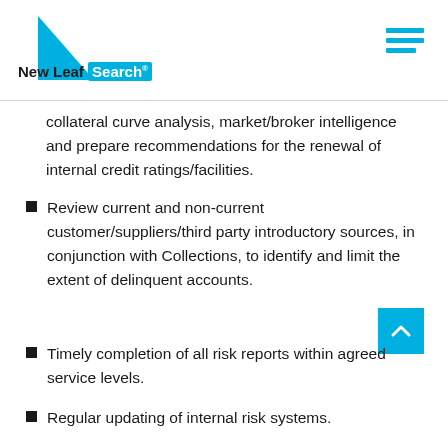New Leaf Search
collateral curve analysis, market/broker intelligence and prepare recommendations for the renewal of internal credit ratings/facilities.
Review current and non-current customer/suppliers/third party introductory sources, in conjunction with Collections, to identify and limit the extent of delinquent accounts.
Timely completion of all risk reports within agreed service levels.
Regular updating of internal risk systems.